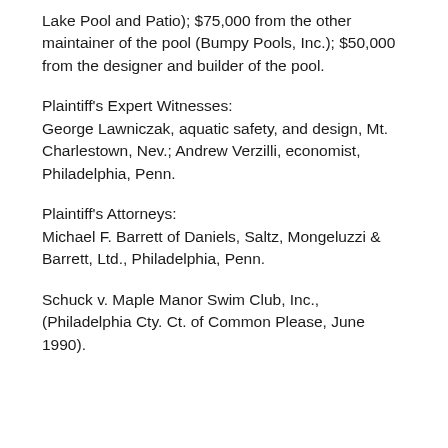Lake Pool and Patio); $75,000 from the other maintainer of the pool (Bumpy Pools, Inc.); $50,000 from the designer and builder of the pool.
Plaintiff's Expert Witnesses:
George Lawniczak, aquatic safety, and design, Mt. Charlestown, Nev.; Andrew Verzilli, economist, Philadelphia, Penn.
Plaintiff's Attorneys:
Michael F. Barrett of Daniels, Saltz, Mongeluzzi & Barrett, Ltd., Philadelphia, Penn.
Schuck v. Maple Manor Swim Club, Inc., (Philadelphia Cty. Ct. of Common Please, June 1990).